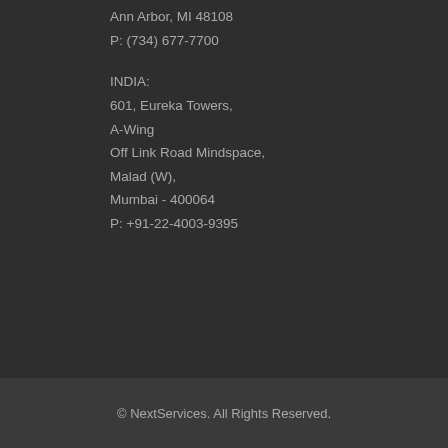Ann Arbor, MI 48108
P: (734) 677-7700
INDIA:
601, Eureka Towers,
A-Wing
Off Link Road Mindspace,
Malad (W),
Mumbai - 400064
P: +91-22-4003-9395
© NextServices. All Rights Reserved.